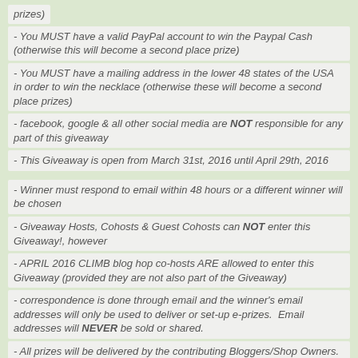prizes)
- You MUST have a valid PayPal account to win the Paypal Cash (otherwise this will become a second place prize)
- You MUST have a mailing address in the lower 48 states of the USA in order to win the necklace (otherwise these will become a second place prizes)
- facebook, google & all other social media are NOT responsible for any part of this giveaway
- This Giveaway is open from March 31st, 2016 until April 29th, 2016
- Winner must respond to email within 48 hours or a different winner will be chosen
- Giveaway Hosts, Cohosts & Guest Cohosts can NOT enter this Giveaway!, however
- APRIL 2016 CLIMB blog hop co-hosts ARE allowed to enter this Giveaway (provided they are not also part of the Giveaway)
- correspondence is done through email and the winner's email addresses will only be used to deliver or set-up e-prizes.  Email addresses will NEVER be sold or shared.
- All prizes will be delivered by the contributing Bloggers/Shop Owners.
- if you have any questions or concerns about this Giveaway please email one of the hosts:
Angie:  angeliquetower@gmail.com
Angel:  sewcraftyangel@gmail.com